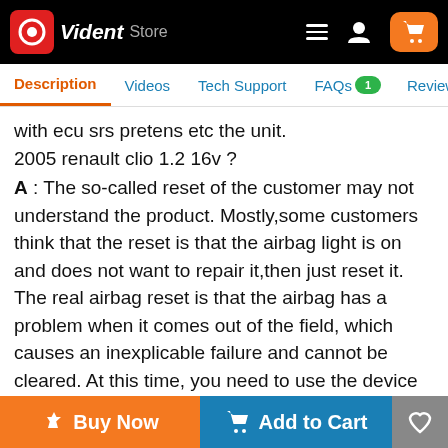Vident Store — navigation header with logo, hamburger menu, user icon, and cart button
Description | Videos | Tech Support | FAQs 1 | Reviews 49
with ecu srs pretens etc the unit.
2005 renault clio 1.2 16v ?
A : The so-called reset of the customer may not understand the product. Mostly,some customers think that the reset is that the airbag light is on and does not want to repair it,then just reset it. The real airbag reset is that the airbag has a problem when it comes out of the field, which causes an inexplicable failure and cannot be cleared. At this time, you need to use the device to flash the airbag program, which is a real airbag reset. Now as the test gets better and better, there is almost no such thing.
Q24: Why doesn't the device have program and reset the EGR valve, and cannot do DPF for bmw x6,E71 year
Buy Now | Add to Cart | Wishlist